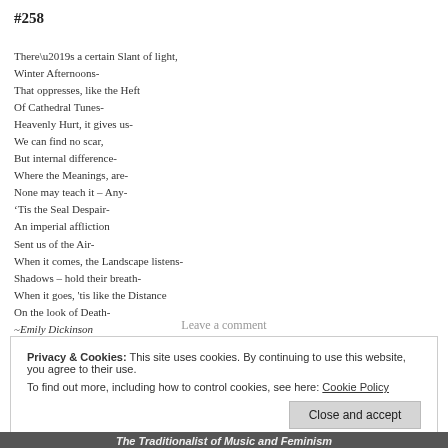#258
There’s a certain Slant of light,
Winter Afternoons-
That oppresses, like the Heft
Of Cathedral Tunes-
Heavenly Hurt, it gives us-
We can find no scar,
But internal difference-
Where the Meanings, are-
None may teach it – Any-
‘Tis the Seal Despair-
An imperial affliction
Sent us of the Air-
When it comes, the Landscape listens-
Shadows – hold their breath-
When it goes, 'tis like the Distance
On the look of Death-
~Emily Dickinson
Leave a comment
Privacy & Cookies: This site uses cookies. By continuing to use this website, you agree to their use.
To find out more, including how to control cookies, see here: Cookie Policy
The Traditionlist of Music and Feminism